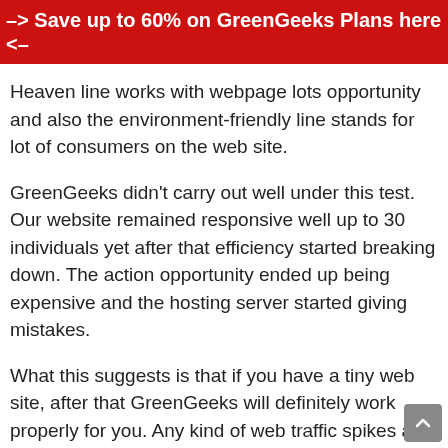–> Save up to 60% on GreenGeeks Plans here <–
Heaven line works with webpage lots opportunity and also the environment-friendly line stands for lot of consumers on the web site.
GreenGeeks didn't carry out well under this test. Our website remained responsive well up to 30 individuals yet after that efficiency started breaking down. The action opportunity ended up being expensive and the hosting server started giving mistakes.
What this suggests is that if you have a tiny web site, after that GreenGeeks will definitely work properly for you. Any kind of web traffic spikes are going to diminish your web site performance substantially and also might cause downtime.